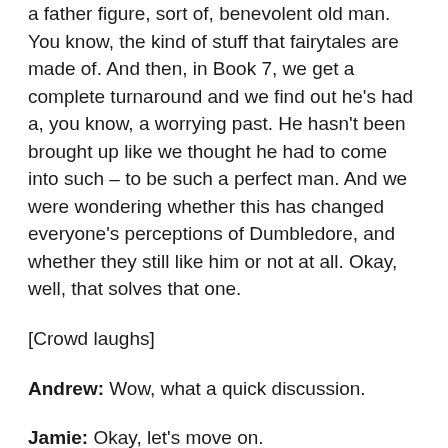a father figure, sort of, benevolent old man. You know, the kind of stuff that fairytales are made of. And then, in Book 7, we get a complete turnaround and we find out he's had a, you know, a worrying past. He hasn't been brought up like we thought he had to come into such – to be such a perfect man. And we were wondering whether this has changed everyone's perceptions of Dumbledore, and whether they still like him or not at all. Okay, well, that solves that one.
[Crowd laughs]
Andrew: Wow, what a quick discussion.
Jamie: Okay, let's move on.
Ben: There are a lot of people who don't, you know, because they look to his past, say, okay, he was friends